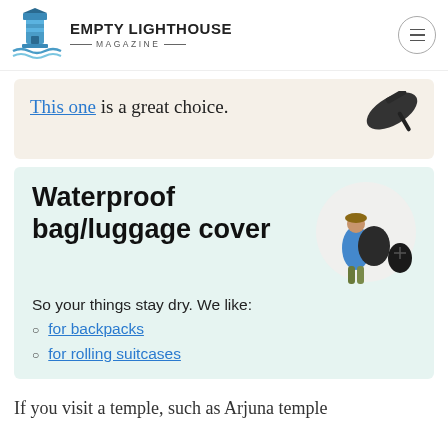EMPTY LIGHTHOUSE MAGAZINE
This one is a great choice.
Waterproof bag/luggage cover
So your things stay dry. We like:
for backpacks
for rolling suitcases
If you visit a temple, such as Arjuna temple